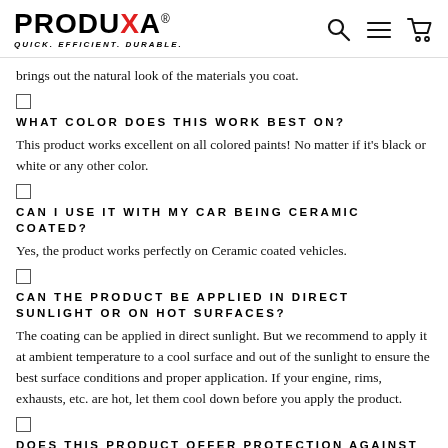PRODUXA® QUICK. EFFICIENT. DURABLE.
brings out the natural look of the materials you coat.
WHAT COLOR DOES THIS WORK BEST ON?
This product works excellent on all colored paints! No matter if it's black or white or any other color.
CAN I USE IT WITH MY CAR BEING CERAMIC COATED?
Yes, the product works perfectly on Ceramic coated vehicles.
CAN THE PRODUCT BE APPLIED IN DIRECT SUNLIGHT OR ON HOT SURFACES?
The coating can be applied in direct sunlight. But we recommend to apply it at ambient temperature to a cool surface and out of the sunlight to ensure the best surface conditions and proper application. If your engine, rims, exhausts, etc. are hot, let them cool down before you apply the product.
DOES THIS PRODUCT OFFER PROTECTION AGAINST